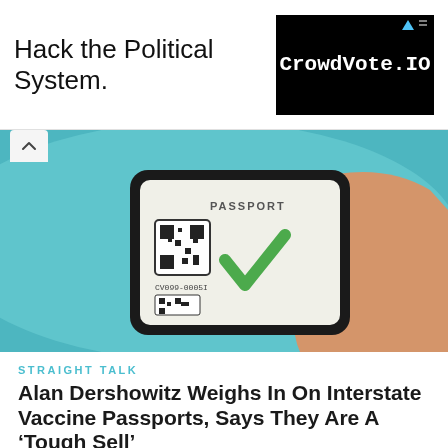[Figure (infographic): Advertisement banner with text 'Hack the Political System.' on white background and 'CrowdVote.IO' logo on black background on the right]
[Figure (photo): Hand holding a smartphone displaying a digital vaccine passport with QR code and green checkmark on a teal/cyan background]
STRAIGHT TALK
Alan Dershowitz Weighs In On Interstate Vaccine Passports, Says They Are A ‘Tough Sell’
According to legal expert Alan Dershowitz, interstate vaccine passports here in the U.S. are going to be a very “tough …
Read More